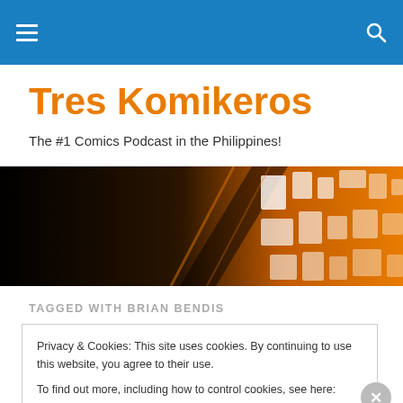Tres Komikeros – navigation bar
Tres Komikeros
The #1 Comics Podcast in the Philippines!
[Figure (illustration): Hero banner with black to orange gradient transitioning into an orange geometric/panel graphic on the right side]
TAGGED WITH BRIAN BENDIS
Privacy & Cookies: This site uses cookies. By continuing to use this website, you agree to their use.
To find out more, including how to control cookies, see here: Cookie Policy
Close and accept